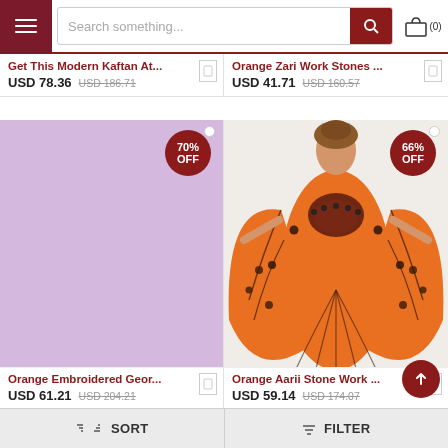Search something... (0)
Get This Modern Kaftan At... USD 78.36 USD 186.71
Orange Zari Work Stones ... USD 41.71 USD 160.57
[Figure (photo): Lavender/purple background placeholder image with 70% OFF badge]
Orange Embroidered Geor... USD 61.21 USD 204.21
[Figure (photo): Woman wearing orange kaftan with black stone work embroidery, butterfly style, 66% OFF badge]
Orange Aarii Stone Work ... USD 59.14 USD 174.07
SORT   FILTER